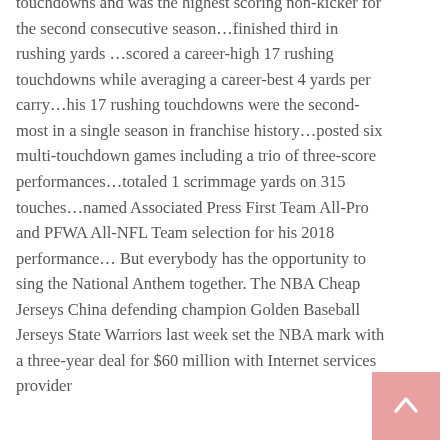touchdowns and was the highest scoring non-kicker for the second consecutive season…finished third in rushing yards …scored a career-high 17 rushing touchdowns while averaging a career-best 4 yards per carry…his 17 rushing touchdowns were the second-most in a single season in franchise history…posted six multi-touchdown games including a trio of three-score performances…totaled 1 scrimmage yards on 315 touches…named Associated Press First Team All-Pro and PFWA All-NFL Team selection for his 2018 performance… But everybody has the opportunity to sing the National Anthem together. The NBA Cheap Jerseys China defending champion Golden Baseball Jerseys State Warriors last week set the NBA mark with a three-year deal for $60 million with Internet services provider
[Figure (other): Pink/rose colored scroll-to-top button with upward arrow in bottom right corner]